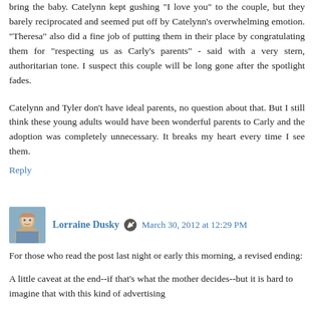bring the baby. Catelynn kept gushing "I love you" to the couple, but they barely reciprocated and seemed put off by Catelynn's overwhelming emotion. "Theresa" also did a fine job of putting them in their place by congratulating them for "respecting us as Carly's parents" - said with a very stern, authoritarian tone. I suspect this couple will be long gone after the spotlight fades.
Catelynn and Tyler don't have ideal parents, no question about that. But I still think these young adults would have been wonderful parents to Carly and the adoption was completely unnecessary. It breaks my heart every time I see them.
Reply
Lorraine Dusky  March 30, 2012 at 12:29 PM
For those who read the post last night or early this morning, a revised ending:
A little caveat at the end--if that's what the mother decides--but it is hard to imagine that with this kind of advertising